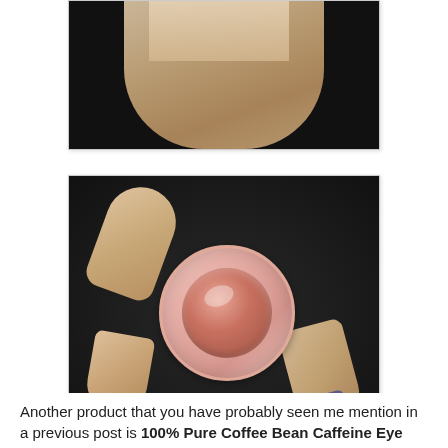[Figure (photo): Partial photo showing fingers holding something against a dark background, cropped at top]
[Figure (photo): Photo of a hand holding a small round container of lip balm or eye cream, open lid showing pink product inside. Dark nail polish visible on fingers. Dark background.]
Another product that you have probably seen me mention in a previous post is 100% Pure Coffee Bean Caffeine Eye